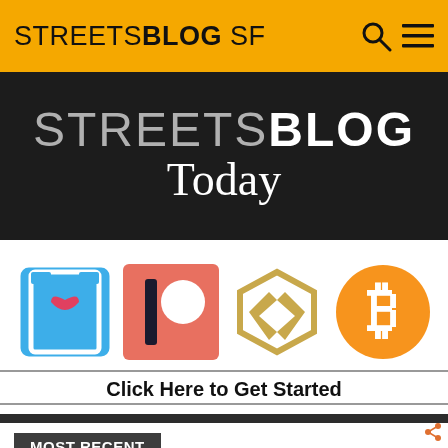STREETSBLOG SF
[Figure (logo): StreetsBlog Today banner on dark background with STREETS in gray, BLOG in white bold, and 'Today' in white serif font]
[Figure (infographic): Four donation/support icons: blue bookmark with heart (Bookshop), red/salmon Patreon logo, gold double-arrow Steem logo, orange Bitcoin logo]
Click Here to Get Started
MOST RECENT